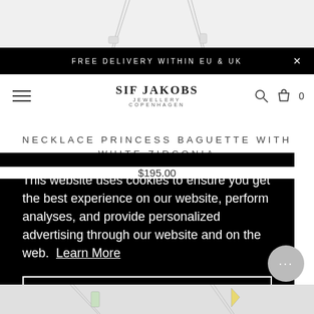[Figure (photo): Top portion of necklace jewelry photo on light gray background]
FREE DELIVERY WITHIN EU & UK
[Figure (logo): Sif Jakobs Jewellery Copenhagen logo with hamburger menu, search icon and bag icon with 0]
NECKLACE PRINCESS BAGUETTE WITH WHITE ZIRCONIA
$195.00
This website uses cookies to ensure you get the best experience on our website, perform analyses, and provide personalized advertising through our website and on the web. Learn More
Got it!
[Figure (photo): Bottom strip showing partial necklace jewelry photos on light background]